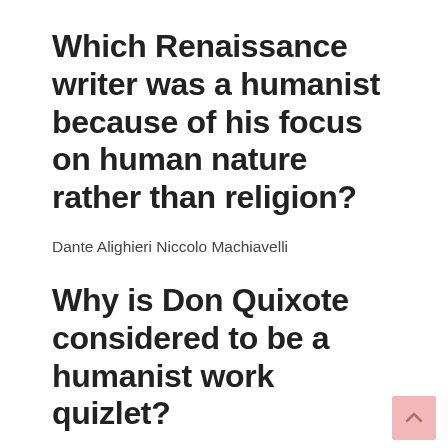Which Renaissance writer was a humanist because of his focus on human nature rather than religion?
Dante Alighieri Niccolo Machiavelli
Why is Don Quixote considered to be a humanist work quizlet?
Why is Don Quixote considered to be a